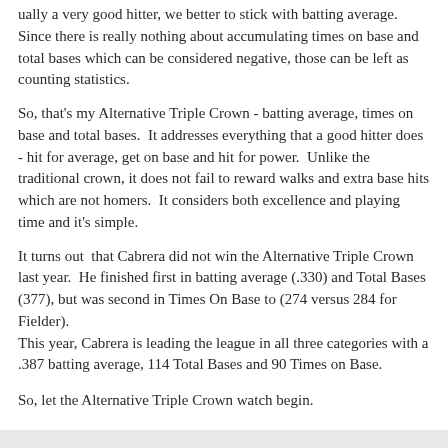ually a very good hitter, we better to stick with batting average.  Since there is really nothing about accumulating times on base and total bases which can be considered negative, those can be left as counting statistics.
So, that's my Alternative Triple Crown - batting average, times on base and total bases.  It addresses everything that a good hitter does - hit for average, get on base and hit for power.  Unlike the traditional crown, it does not fail to reward walks and extra base hits which are not homers.  It considers both excellence and playing time and it's simple.
It turns out  that Cabrera did not win the Alternative Triple Crown last year.  He finished first in batting average (.330) and Total Bases (377), but was second in Times On Base to (274 versus 284 for Fielder).
This year, Cabrera is leading the league in all three categories with a .387 batting average, 114 Total Bases and 90 Times on Base.
So, let the Alternative Triple Crown watch begin.